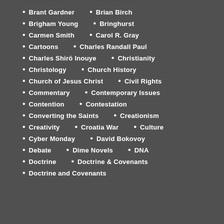Brant Gardner
Brian Birch
Brigham Young
Bringhurst
Carmen Smith
Carol R. Gray
Cartoons
Charles Randall Paul
Charles Shirō Inouye
Christianity
Christology
Church History
Church of Jesus Christ
Civil Rights
Commentary
Contemporary Issues
Contention
Contestation
Converting the Saints
Creationism
Creativity
Croatia War
Culture
Cyber Monday
David Bokovoy
Debate
Dime Novels
DNA
Doctrine
Doctrine & Covenants
Doctrine and Covenants